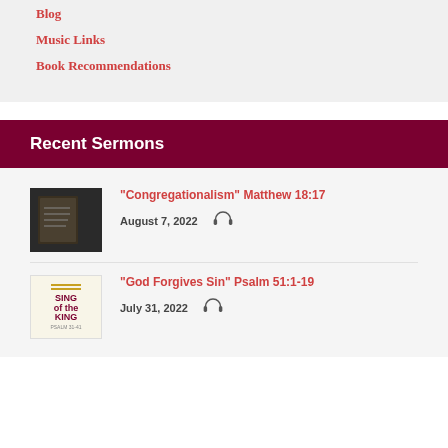Blog
Music Links
Book Recommendations
Recent Sermons
“Congregationalism” Matthew 18:17
August 7, 2022
“God Forgives Sin” Psalm 51:1-19
July 31, 2022